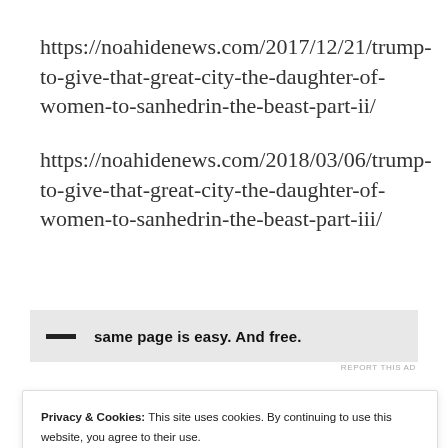https://noahidenews.com/2017/12/21/trump-to-give-that-great-city-the-daughter-of-women-to-sanhedrin-the-beast-part-ii/
https://noahidenews.com/2018/03/06/trump-to-give-that-great-city-the-daughter-of-women-to-sanhedrin-the-beast-part-iii/
[Figure (other): Advertisement banner with black dash and bold text: 'same page is easy. And free.']
REPORT THIS AD
Privacy & Cookies: This site uses cookies. By continuing to use this website, you agree to their use.
To find out more, including how to control cookies, see here: Cookie Policy
Close and accept